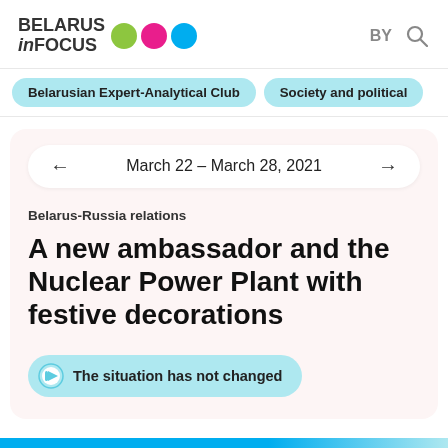BELARUS inFOCUS — BY [search]
Belarusian Expert-Analytical Club
Society and political
March 22 – March 28, 2021
Belarus-Russia relations
A new ambassador and the Nuclear Power Plant with festive decorations
The situation has not changed